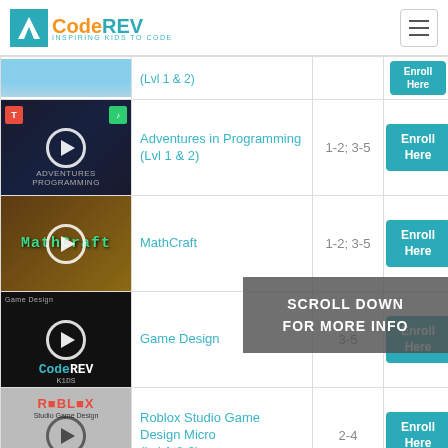CodeREV - Inspiring Kids to Code
| Thumbnail | Course Name | Grade | Enroll |
| --- | --- | --- | --- |
| [partial row] | (Lvl 1 & 2) |  | Enroll Here |
| [Adventures in Programming thumbnail] | Adventures in Programming (Lvl 1 & 2) | 1-2; 3-5 | Enroll Here |
| [MathCraft thumbnail] | MathCraft | 1-2; 3-5 | Enroll Here |
| [Game Design thumbnail] | Game Design | 3-5 | Enroll Here |
| [Roblox Studio thumbnail] | Roblox Studio Game Design Micro (Lvl 1 & 2) | 2-4 | Enroll Here |
| [partial row thumbnail] |  |  | Enroll |
SCROLL DOWN FOR MORE INFO